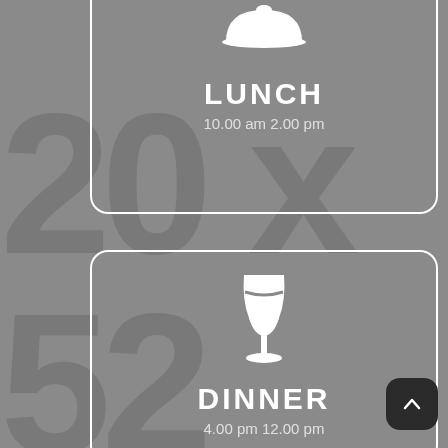[Figure (infographic): Background watermark large text showing '20 x 52' in dark gray on gray background]
[Figure (infographic): Lunch card with cloche/dome serving dish icon, title LUNCH, time 10.00 am 2.00 pm, white rounded rectangle border on gray background]
LUNCH
10.00 am 2.00 pm
[Figure (infographic): Dinner card with wine glass icon, title DINNER, time 4.00 pm 12.00 pm, white rounded rectangle border on gray background]
DINNER
4.00 pm 12.00 pm